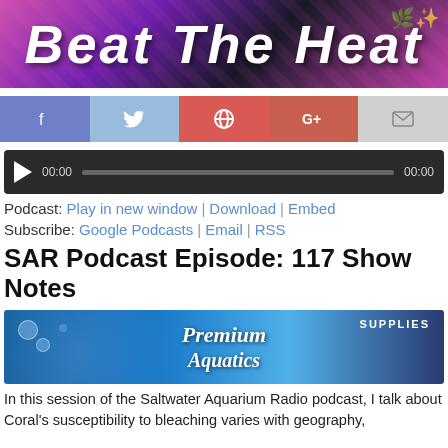[Figure (illustration): Beat The Heat banner with colorful graffiti-style background in pink and purple tones]
[Figure (infographic): Social sharing buttons: Facebook, Twitter, Pinterest, Google+, Email]
[Figure (screenshot): Audio player with play button, 00:00 timestamp, progress bar, and 00:00 end time]
Podcast: Play in new window | Download | Embed
Subscribe: Google Podcasts | Email | RSS
SAR Podcast Episode: 117 Show Notes
[Figure (illustration): Premium Aquatics Supplies banner with underwater/blue background]
In this session of the Saltwater Aquarium Radio podcast, I talk about Coral's susceptibility to bleaching varies with geography,